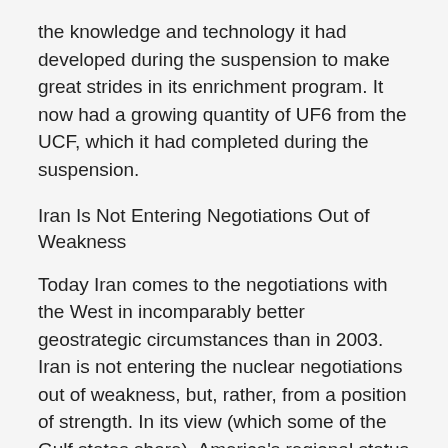the knowledge and technology it had developed during the suspension to make great strides in its enrichment program. It now had a growing quantity of UF6 from the UCF, which it had completed during the suspension.
Iran Is Not Entering Negotiations Out of Weakness
Today Iran comes to the negotiations with the West in incomparably better geostrategic circumstances than in 2003. Iran is not entering the nuclear negotiations out of weakness, but, rather, from a position of strength. In its view (which some of the Gulf states share), America's regional status and deterrence power are in continuing decline, the Sunni Arab world is increasingly divided with no unification processes on the horizon, disappointment with the United States is intensifying (especially in light of its irresolution after Syria crossed the “red line” of chemical-weapons use), and Iran’s strategic ally in Syria –